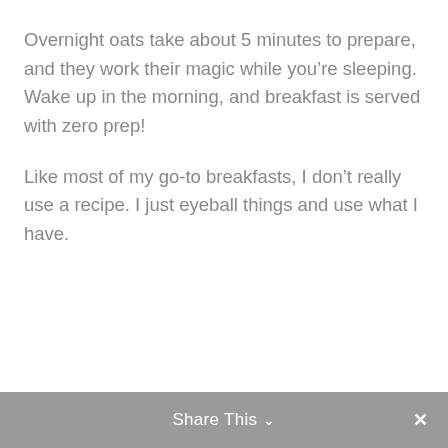Overnight oats take about 5 minutes to prepare, and they work their magic while you’re sleeping. Wake up in the morning, and breakfast is served with zero prep!
Like most of my go-to breakfasts, I don’t really use a recipe. I just eyeball things and use what I have.
Share This ∨  ×